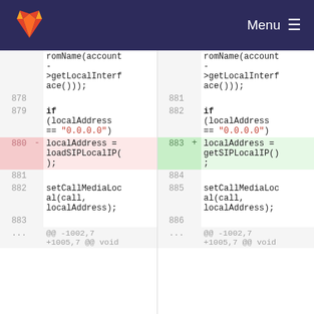GitLab — Menu
[Figure (screenshot): GitLab code diff view showing changes from loadSIPLocalIP() to getSIPLocalIP() in a source file. Left panel shows old code (lines 878-883), right panel shows new code (lines 881-886). Line 880 (removed, red) shows 'localAddress = loadSIPLocalIP();' and line 883 (added, green) shows 'localAddress = getSIPLocalIP();'. Context lines include romName(account->getLocalInterface()), if (localAddress == "0.0.0.0"), empty lines, and setCallMediaLocal(call, localAddress); Bottom shows hunk header @@ -1002,7 +1005,7 @@ void.]